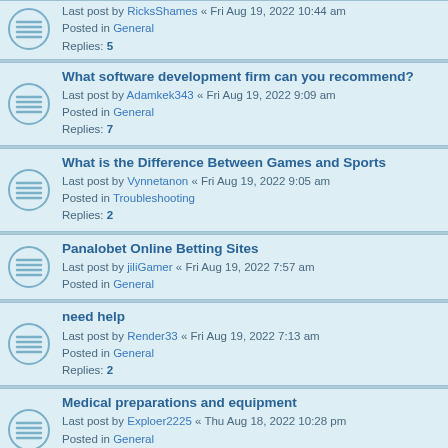Last post by RicksShames « Fri Aug 19, 2022 10:44 am
Posted in General
Replies: 5
What software development firm can you recommend?
Last post by Adamkek343 « Fri Aug 19, 2022 9:09 am
Posted in General
Replies: 7
What is the Difference Between Games and Sports
Last post by Vynnetanon « Fri Aug 19, 2022 9:05 am
Posted in Troubleshooting
Replies: 2
Panalobet Online Betting Sites
Last post by jiliGamer « Fri Aug 19, 2022 7:57 am
Posted in General
need help
Last post by Render33 « Fri Aug 19, 2022 7:13 am
Posted in General
Replies: 2
Medical preparations and equipment
Last post by Exploer2225 « Thu Aug 18, 2022 10:28 pm
Posted in General
Replies: 1
What nail design will be fashionable this fall?
Last post by Ytist « Thu Aug 18, 2022 10:27 pm
Posted in General
Replies: 3
What genre of games do you like?
Last post by Gavi « Thu Aug 18, 2022 9:20 pm
Posted in General
Replies: 5